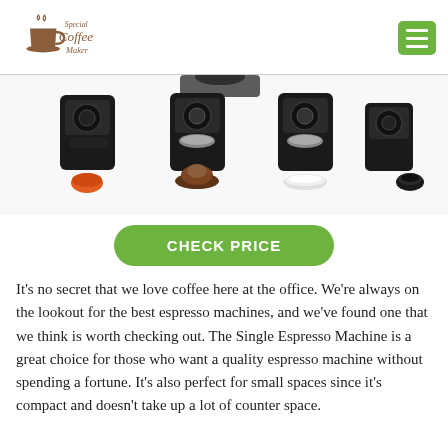Special Coffee Maker
[Figure (photo): Four espresso machine pod adapters/capsule holders shown in a row with different coffee capsule types: an orange Nespresso capsule, ground coffee, a flat paper pod, and a dark capsule]
CHECK PRICE
It's no secret that we love coffee here at the office. We're always on the lookout for the best espresso machines, and we've found one that we think is worth checking out. The Single Espresso Machine is a great choice for those who want a quality espresso machine without spending a fortune. It's also perfect for small spaces since it's compact and doesn't take up a lot of counter space.